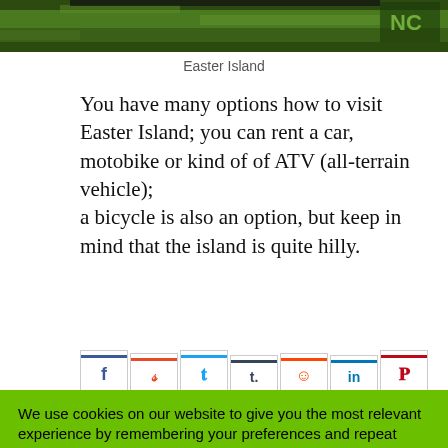[Figure (photo): Aerial or landscape photo of Easter Island with green grass, partially cropped at the top of the page]
Easter Island
You have many options how to visit Easter Island; you can rent a car, motobike or kind of of ATV (all-terrain vehicle); a bicycle is also an option, but keep in mind that the island is quite hilly.
[Figure (infographic): Social share buttons row: Facebook (f), StumbleUpon, Twitter, Tumblr (t.), Reddit, LinkedIn (in), Pinterest (p)]
We use cookies on our website to give you the most relevant experience by remembering your preferences and repeat visits. By clicking “Accept”, you consent to the use of ALL the cookies. Do not sell my personal information.
Cookie Settings
Accept